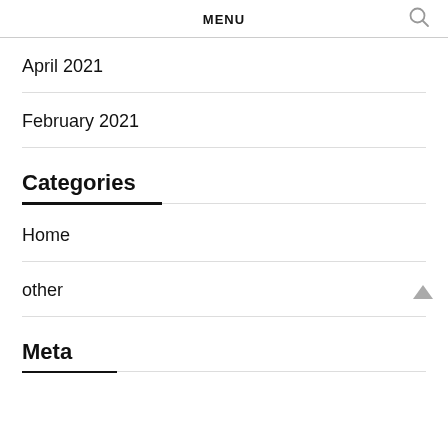MENU
April 2021
February 2021
Categories
Home
other
Meta